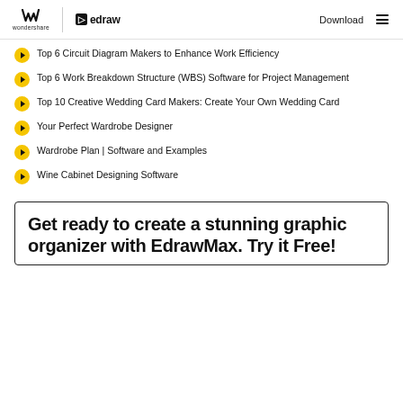wondershare | edraw | Download
Top 6 Circuit Diagram Makers to Enhance Work Efficiency
Top 6 Work Breakdown Structure (WBS) Software for Project Management
Top 10 Creative Wedding Card Makers: Create Your Own Wedding Card
Your Perfect Wardrobe Designer
Wardrobe Plan | Software and Examples
Wine Cabinet Designing Software
Get ready to create a stunning graphic organizer with EdrawMax. Try it Free!